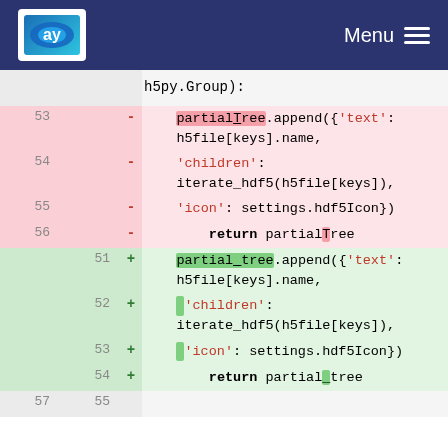Menu
[Figure (screenshot): Code diff view showing changes to a Python function. Deleted lines (pink, old line numbers 53-56) show partialTree.append with string keys 'text', 'children', 'icon' and return partialTree. Added lines (green, new line numbers 51-54) show partial_tree.append with same string keys and return partial_tree. Line 57/55 is a neutral context line.]